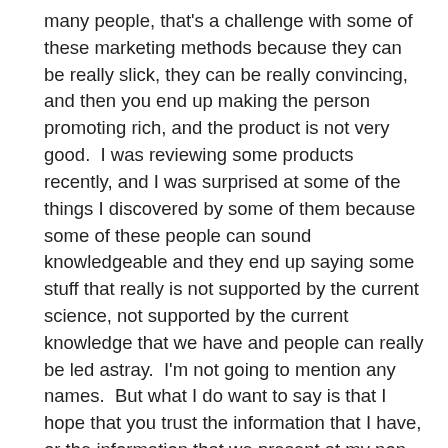many people, that's a challenge with some of these marketing methods because they can be really slick, they can be really convincing, and then you end up making the person promoting rich, and the product is not very good.  I was reviewing some products recently, and I was surprised at some of the things I discovered by some of them because some of these people can sound knowledgeable and they end up saying some stuff that really is not supported by the current science, not supported by the current knowledge that we have and people can really be led astray.  I'm not going to mention any names.  But what I do want to say is that I hope that you trust the information that I have, or the information that we present at my non-profit Responsible Eating and Living and we're not selling you anything, everything on our website is free, and that makes me feel more confident about what we're offering.  If you ever do have a question, a question about health, a question about something someone has said and you're not quite sure about you can always send an email at info@realmeals.org and I will be happy, do my best, to find out whether it's valuable, credible, or not. Okay, I got some